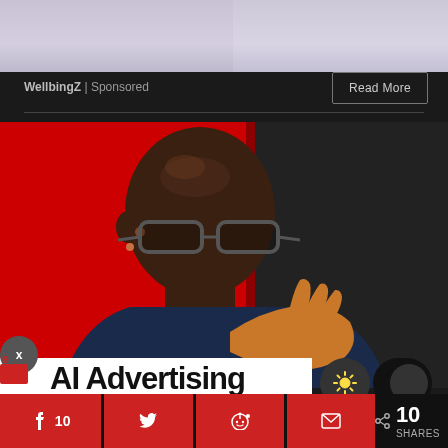[Figure (photo): Top portion of a photo showing fabric or clothing in lavender/grey tones, cropped at shoulders]
WellbingZ | Sponsored
Read More
[Figure (photo): Man with glasses and shaved head against a red background, wearing a dark blue shirt, with hands near his chin]
AI Advertising
10
10 SHARES